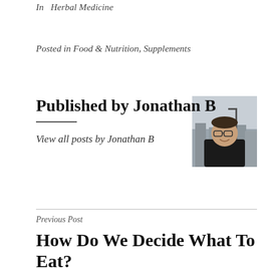In  Herbal Medicine
Posted in Food & Nutrition, Supplements
Published by Jonathan B
View all posts by Jonathan B
[Figure (photo): Headshot photo of Jonathan B, a man wearing glasses, smiling, with a cityscape in the background]
Previous Post
How Do We Decide What To Eat?